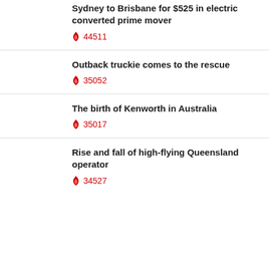Sydney to Brisbane for $525 in electric converted prime mover
🔥 44511
Outback truckie comes to the rescue
🔥 35052
The birth of Kenworth in Australia
🔥 35017
Rise and fall of high-flying Queensland operator
🔥 34527